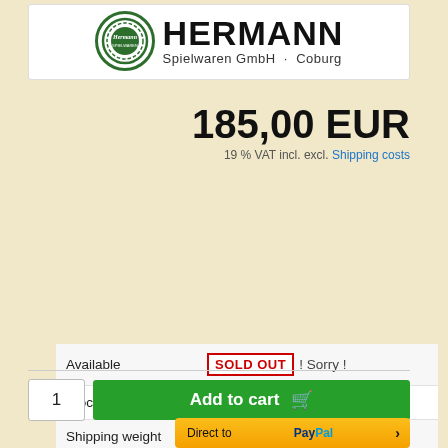[Figure (logo): Hermann Spielwaren GmbH Coburg logo with circular green badge and bold HERMANN text]
185,00 EUR
19 % VAT incl. excl. Shipping costs
| Available | SOLD OUT ! Sorry ! |
| Stock-Information | 0 pieces available |
| Shipping weight | 1.00 kg |
| Product no.: | 12012-2 |
| Payment options | PayPal VISA Mastercard EC Vorkasse |
| Need help? | Question to article ✓ |
1
Add to cart
Direct to PayPal >